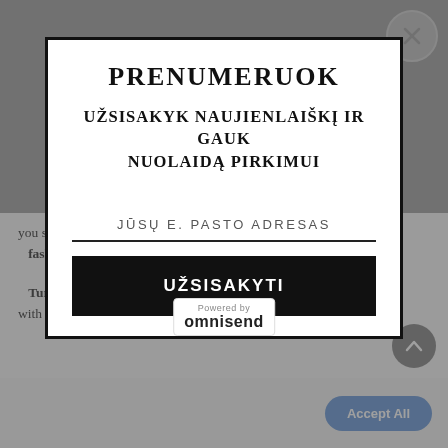[Figure (logo): Diamond ring logo with text Pasipuosk.lt in italic script below]
PRENUMERUOK
UŽSISAKYK NAUJIENLAIŠKĮ IR GAUK NUOLAIDĄ PIRKIMUI
JŪSŲ E. PASTO ADRESAS
UŽSISAKYTI
you should need to find out more about the cookies we use. View Cookies Policy.
fashion.
Turquoise is a co um phosphate with hardne Moh
Accept All